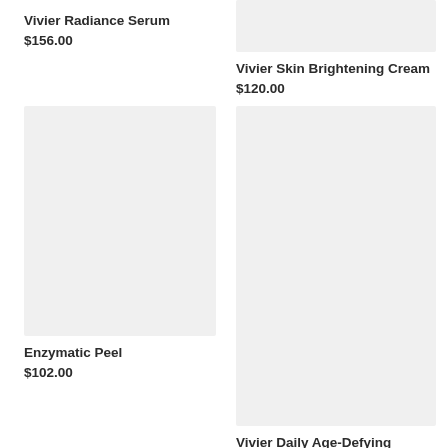Vivier Radiance Serum
$156.00
[Figure (photo): Partial product image for Vivier Skin Brightening Cream at top]
Vivier Skin Brightening Cream
$120.00
[Figure (photo): Product image placeholder for Enzymatic Peel]
Enzymatic Peel
$102.00
[Figure (photo): Product image placeholder for Vivier Daily Age-Defying Moisturizer]
Vivier Daily Age-Defying Moisturizer